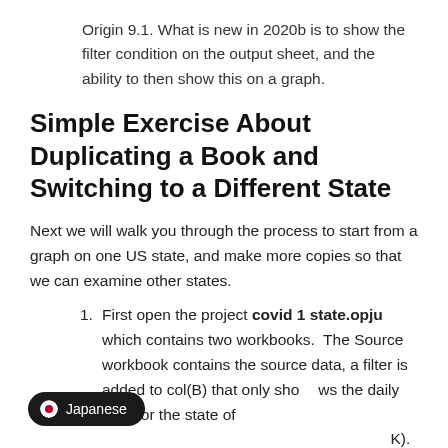Origin 9.1. What is new in 2020b is to show the filter condition on the output sheet, and the ability to then show this on a graph.
Simple Exercise About Duplicating a Book and Switching to a Different State
Next we will walk you through the process to start from a graph on one US state, and make more copies so that we can examine other states.
First open the project covid 1 state.opju which contains two workbooks.  The Source workbook contains the source data, a filter is added to col(B) that only shows the daily data for the state of (AK). Four columns in the Source book are